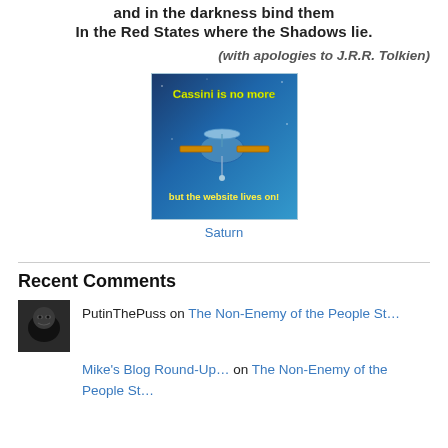and in the darkness bind them
In the Red States where the Shadows lie.
(with apologies to J.R.R. Tolkien)
[Figure (illustration): Cassini spacecraft illustration with text: 'Cassini is no more but the website lives on!']
Saturn
Recent Comments
PutinThePuss on The Non-Enemy of the People St…
Mike's Blog Round-Up… on The Non-Enemy of the People St…